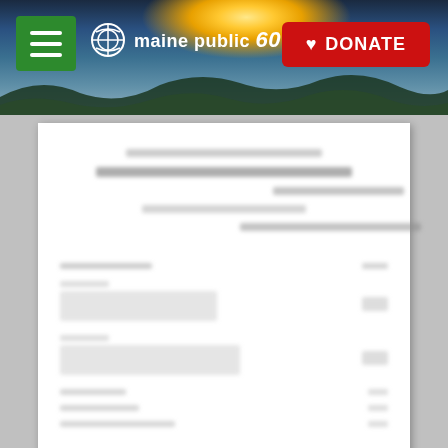[Figure (screenshot): Maine Public website header with navigation bar, logo, and red DONATE button over a scenic sunrise/landscape photo background]
[Figure (screenshot): Blurred document viewer showing page 1 of 132 of an unreadable document, with prev/next navigation arrows and fullscreen button]
Explore This Document In Full-Screen Mode
Maine Public Radio
Here and Now